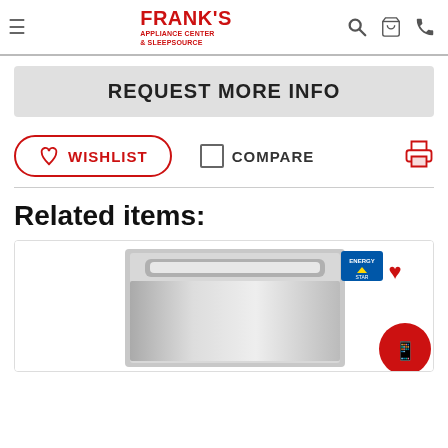Frank's Appliance Center & Sleepsource
REQUEST MORE INFO
WISHLIST
COMPARE
Related items:
[Figure (photo): Stainless steel dishwasher product image with Energy Star badge and wishlist heart icon]